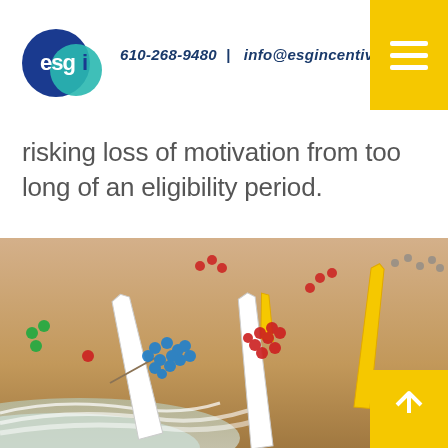esgi | 610-268-9480 | info@esgincentives.com
risking loss of motivation from too long of an eligibility period.
[Figure (photo): Aerial view of a beach with teams of people in colored shirts (blue, red, green) gathered around long outrigger canoes at the shoreline, with waves washing up on the sand.]